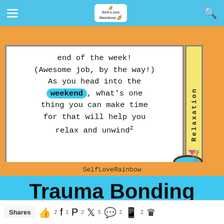Self-Love Rainbow
[Figure (illustration): Orange-bordered card with white interior showing text about the weekend and relaxation, with a vertical yellow side label reading 'Relaxation' and a coconut drink illustration in the bottom right corner]
SelfLoveRainbow
Trauma Bonding
A cycle of physical or emotional
Shares